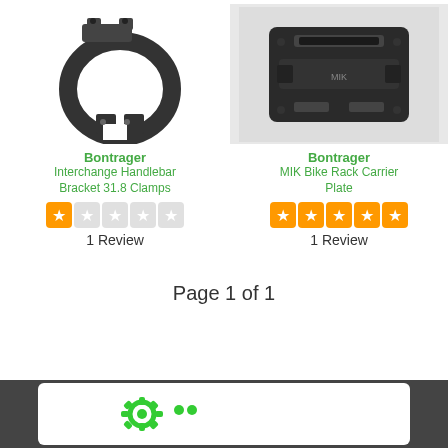[Figure (photo): Bontrager Interchange Handlebar Bracket 31.8 Clamps - black metal clamp hardware]
[Figure (photo): Bontrager MIK Bike Rack Carrier Plate - black plastic carrier plate]
Bontrager
Interchange Handlebar Bracket 31.8 Clamps
1 Review
Bontrager
MIK Bike Rack Carrier Plate
1 Review
Page 1 of 1
[Figure (logo): Website logo in footer - green gear/cog icon on white background]